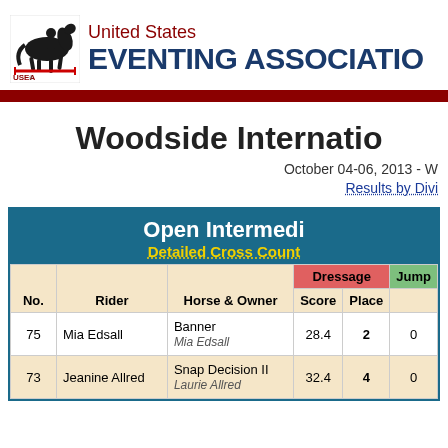[Figure (logo): United States Eventing Association (USEA) logo with horse and rider silhouette]
Woodside International
October 04-06, 2013 - W
Results by Division
| No. | Rider | Horse & Owner | Score | Place | Jump |
| --- | --- | --- | --- | --- | --- |
| 75 | Mia Edsall | Banner
Mia Edsall | 28.4 | 2 | 0 |
| 73 | Jeanine Allred | Snap Decision II
Laurie Allred | 32.4 | 4 | 0 |